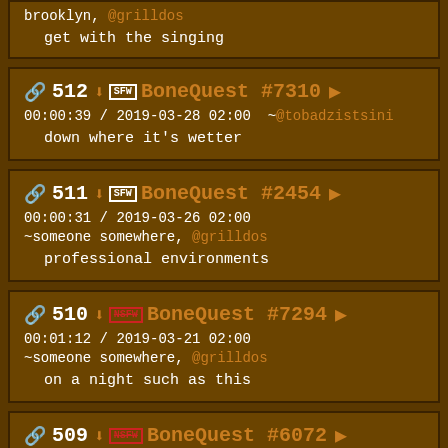brooklyn, @grilldos
    get with the singing
512 | BoneQuest #7310 | 00:00:39 / 2019-03-28 02:00 ~@tobadzistsini | down where it's wetter
511 | BoneQuest #2454 | 00:00:31 / 2019-03-26 02:00 ~someone somewhere, @grilldos | professional environments
510 | NSFW | BoneQuest #7294 | 00:01:12 / 2019-03-21 02:00 ~someone somewhere, @grilldos | on a night such as this
509 | NSFW | BoneQuest #6072 | 00:00:42 / 2019-03-19 02:00 ~someone in denver, @grilldos